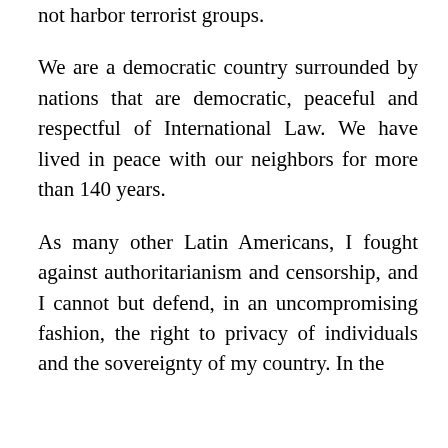not harbor terrorist groups.
We are a democratic country surrounded by nations that are democratic, peaceful and respectful of International Law. We have lived in peace with our neighbors for more than 140 years.
As many other Latin Americans, I fought against authoritarianism and censorship, and I cannot but defend, in an uncompromising fashion, the right to privacy of individuals and the sovereignty of my country. In the